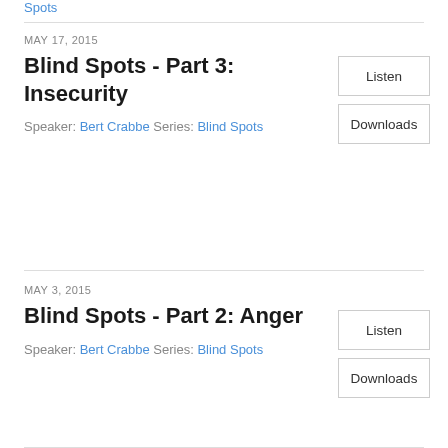Spots
MAY 17, 2015
Blind Spots - Part 3: Insecurity
Speaker: Bert Crabbe Series: Blind Spots
MAY 3, 2015
Blind Spots - Part 2: Anger
Speaker: Bert Crabbe Series: Blind Spots